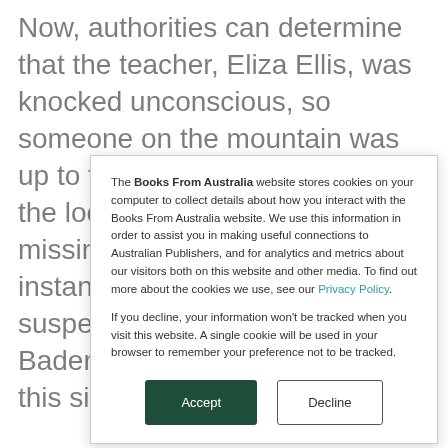Now, authorities can determine that the teacher, Eliza Ellis, was knocked unconscious, so someone on the mountain was up to foul play. Jordan Murphy, the local dealer and father of missing student Jasmine, instantly becomes the prime suspect. But Detective Con Badenhorst knows that in a town this size –
The Books From Australia website stores cookies on your computer to collect details about how you interact with the Books From Australia website. We use this information in order to assist you in making useful connections to Australian Publishers, and for analytics and metrics about our visitors both on this website and other media. To find out more about the cookies we use, see our Privacy Policy.

If you decline, your information won't be tracked when you visit this website. A single cookie will be used in your browser to remember your preference not to be tracked.